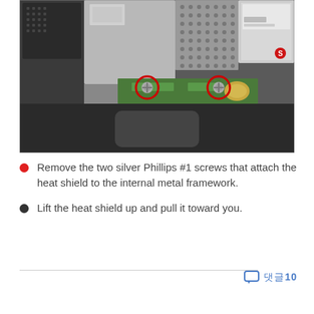[Figure (photo): Close-up photo of laptop internal components showing the heat shield area. Two screws circled in red indicate their positions on the heat shield attachment to the internal metal framework. The laptop internals including hard drive, memory modules, and trackpad area are visible.]
Remove the two silver Phillips #1 screws that attach the heat shield to the internal metal framework.
Lift the heat shield up and pull it toward you.
댓글 10